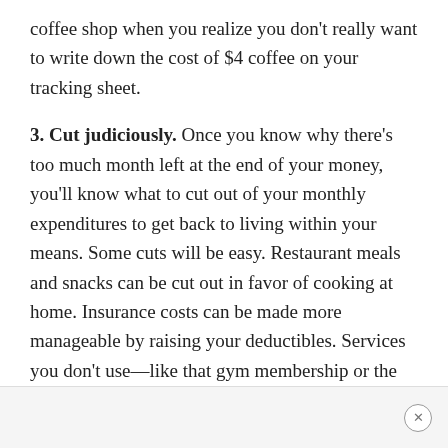coffee shop when you realize you don't really want to write down the cost of $4 coffee on your tracking sheet.
3. Cut judiciously. Once you know why there's too much month left at the end of your money, you'll know what to cut out of your monthly expenditures to get back to living within your means. Some cuts will be easy. Restaurant meals and snacks can be cut out in favor of cooking at home. Insurance costs can be made more manageable by raising your deductibles. Services you don't use—like that gym membership or the extra data plan on your phone—should also be on the chopping block.